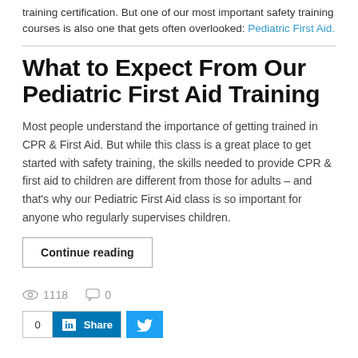training certification. But one of our most important safety training courses is also one that gets often overlooked: Pediatric First Aid.
What to Expect From Our Pediatric First Aid Training
Most people understand the importance of getting trained in CPR & First Aid. But while this class is a great place to get started with safety training, the skills needed to provide CPR & first aid to children are different from those for adults – and that's why our Pediatric First Aid class is so important for anyone who regularly supervises children.
Continue reading
1118   0